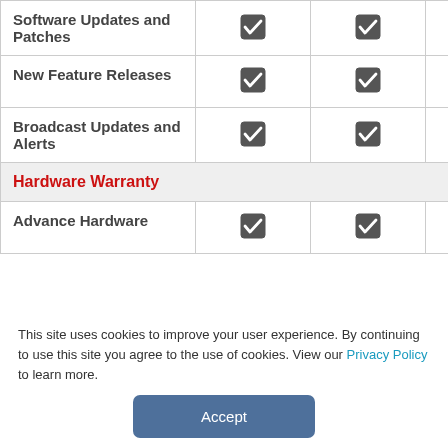| Feature | Col1 | Col2 | Col3 |
| --- | --- | --- | --- |
| Software Updates and Patches | ✔ | ✔ | ✔ |
| New Feature Releases | ✔ | ✔ | ✔ |
| Broadcast Updates and Alerts | ✔ | ✔ | ✔ |
| Hardware Warranty (section header) |  |  |  |
| Advance Hardware | ✔ | ✔ | ✔ |
This site uses cookies to improve your user experience. By continuing to use this site you agree to the use of cookies. View our Privacy Policy to learn more.